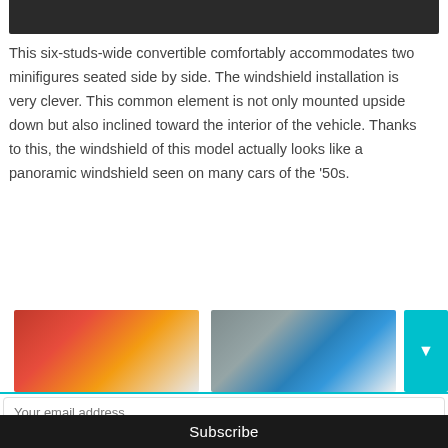[Figure (photo): Top portion of a dark/black image, cropped at page top]
This six-studs-wide convertible comfortably accommodates two minifigures seated side by side. The windshield installation is very clever. This common element is not only mounted upside down but also inclined toward the interior of the vehicle. Thanks to this, the windshield of this model actually looks like a panoramic windshield seen on many cars of the '50s.
[Figure (photo): Thumbnail image 1 showing colorful LEGO minifigures]
[Figure (photo): Thumbnail image 2 showing LEGO pieces close-up]
Sign-up now - don't miss the fun!
Your email address..
Subscribe